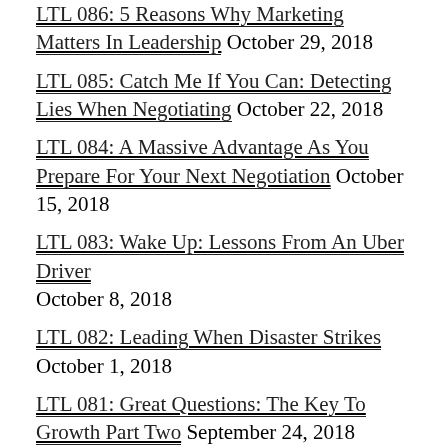LTL 086: 5 Reasons Why Marketing Matters In Leadership October 29, 2018
LTL 085: Catch Me If You Can: Detecting Lies When Negotiating October 22, 2018
LTL 084: A Massive Advantage As You Prepare For Your Next Negotiation October 15, 2018
LTL 083: Wake Up: Lessons From An Uber Driver October 8, 2018
LTL 082: Leading When Disaster Strikes October 1, 2018
LTL 081: Great Questions: The Key To Growth Part Two September 24, 2018
LTL 080: Great Questions: The Key To Growth